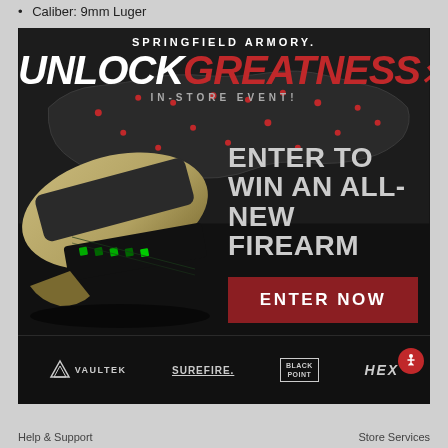Caliber: 9mm Luger
[Figure (infographic): Springfield Armory Unlock Greatness In-Store Event advertisement. Dark background with US map overlay and red location pins. Gold/tan firearm safe shown on left. Text reads: SPRINGFIELD ARMORY. UNLOCK GREATNESS x IN-STORE EVENT! ENTER TO WIN AN ALL-NEW FIREARM. Red button: ENTER NOW. Bottom logos: VAULTEK, SUREFIRE, BLACK POINT, HEX.]
Help & Support   Store Services